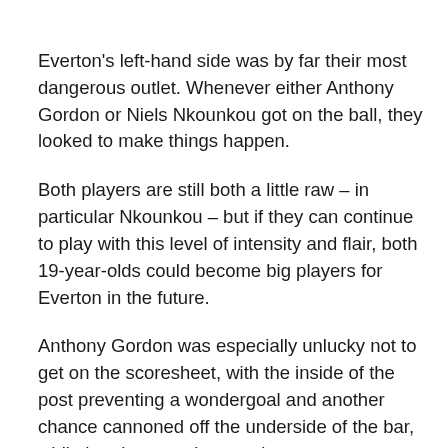Everton's left-hand side was by far their most dangerous outlet. Whenever either Anthony Gordon or Niels Nkounkou got on the ball, they looked to make things happen.
Both players are still both a little raw – in particular Nkounkou – but if they can continue to play with this level of intensity and flair, both 19-year-olds could become big players for Everton in the future.
Anthony Gordon was especially unlucky not to get on the scoresheet, with the inside of the post preventing a wondergoal and another chance cannoned off the underside of the bar, while he also won the penalty.
Indeed, there was a stark difference between the left